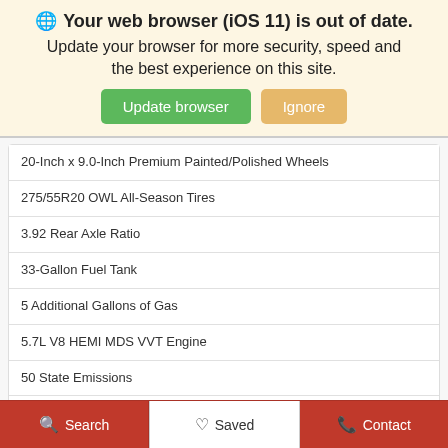🌐 Your web browser (iOS 11) is out of date. Update your browser for more security, speed and the best experience on this site. [Update browser] [Ignore]
20-Inch x 9.0-Inch Premium Painted/Polished Wheels
275/55R20 OWL All-Season Tires
3.92 Rear Axle Ratio
33-Gallon Fuel Tank
5 Additional Gallons of Gas
5.7L V8 HEMI MDS VVT Engine
50 State Emissions
8-Speed Automatic 8HP75 Transmission
850W Engine Cooling Fan
Anti-Spin Differential Rear Axle
Billet Silver Metallic Clear-Coat Exterior Paint
Search  Saved  Contact